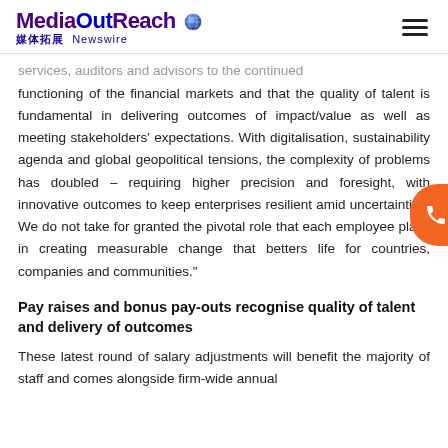MediaOutReach 媒体拓展 Newswire
services, auditors and advisors to the continued functioning of the financial markets and that the quality of talent is fundamental in delivering outcomes of impact/value as well as meeting stakeholders' expectations. With digitalisation, sustainability agenda and global geopolitical tensions, the complexity of problems has doubled – requiring higher precision and foresight, with innovative outcomes to keep enterprises resilient amid uncertainties. We do not take for granted the pivotal role that each employee plays in creating measurable change that betters life for countries, companies and communities."
Pay raises and bonus pay-outs recognise quality of talent and delivery of outcomes
These latest round of salary adjustments will benefit the majority of staff and comes alongside firm-wide annual